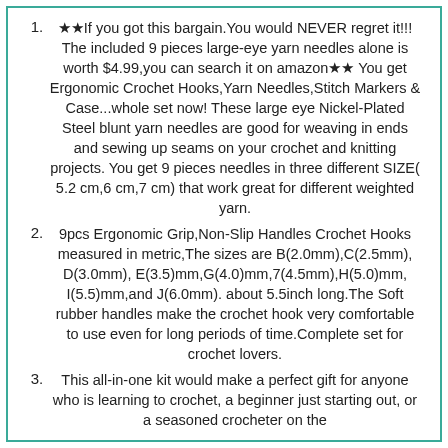★★If you got this bargain.You would NEVER regret it!!! The included 9 pieces large-eye yarn needles alone is worth $4.99,you can search it on amazon★★ You get Ergonomic Crochet Hooks,Yarn Needles,Stitch Markers & Case...whole set now! These large eye Nickel-Plated Steel blunt yarn needles are good for weaving in ends and sewing up seams on your crochet and knitting projects. You get 9 pieces needles in three different SIZE( 5.2 cm,6 cm,7 cm) that work great for different weighted yarn.
9pcs Ergonomic Grip,Non-Slip Handles Crochet Hooks measured in metric,The sizes are B(2.0mm),C(2.5mm), D(3.0mm), E(3.5)mm,G(4.0)mm,7(4.5mm),H(5.0)mm, I(5.5)mm,and J(6.0mm). about 5.5inch long.The Soft rubber handles make the crochet hook very comfortable to use even for long periods of time.Complete set for crochet lovers.
This all-in-one kit would make a perfect gift for anyone who is learning to crochet, a beginner just starting out, or a seasoned crocheter on the